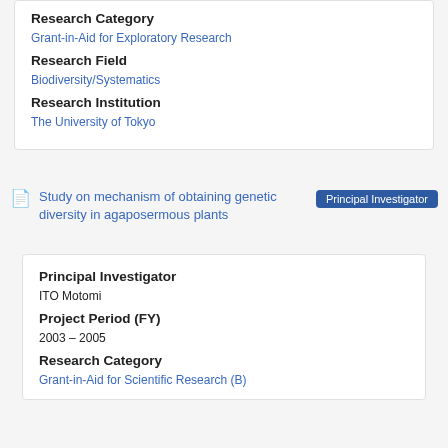Research Category
Grant-in-Aid for Exploratory Research
Research Field
Biodiversity/Systematics
Research Institution
The University of Tokyo
Study on mechanism of obtaining genetic diversity in agaposermous plants  Principal Investigator
Principal Investigator
ITO Motomi
Project Period (FY)
2003 – 2005
Research Category
Grant-in-Aid for Scientific Research (B)